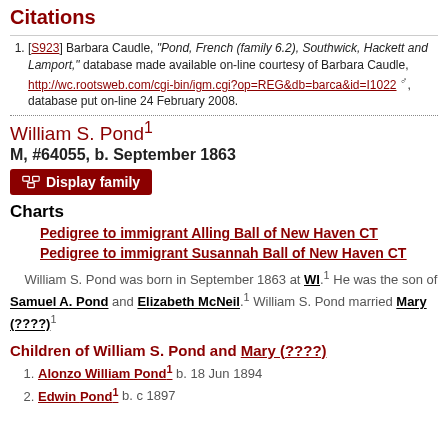Citations
[S923] Barbara Caudle, "Pond, French (family 6.2), Southwick, Hackett and Lamport," database made available on-line courtesy of Barbara Caudle, http://wc.rootsweb.com/cgi-bin/igm.cgi?op=REG&db=barca&id=I1022, database put on-line 24 February 2008.
William S. Pond
M, #64055, b. September 1863
Display family
Charts
Pedigree to immigrant Alling Ball of New Haven CT
Pedigree to immigrant Susannah Ball of New Haven CT
William S. Pond was born in September 1863 at WI. He was the son of Samuel A. Pond and Elizabeth McNeil. William S. Pond married Mary (????)
Children of William S. Pond and Mary (.????)
1. Alonzo William Pond b. 18 Jun 1894
2. Edwin Pond b. c 1897